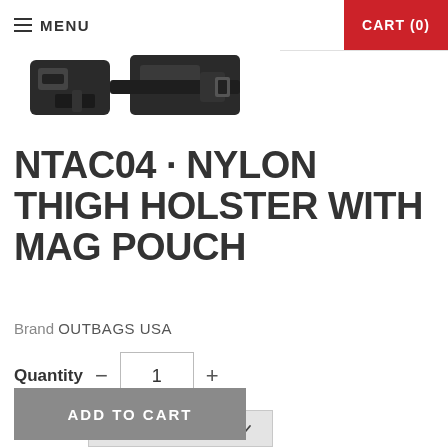MENU | CART (0)
[Figure (photo): Partial view of a nylon thigh holster with mag pouch, showing black buckles and straps against a white background]
NTAC04 · NYLON THIGH HOLSTER WITH MAG POUCH
Brand OUTBAGS USA
Quantity - 1 +
Handing Pick a Handing
ADD TO CART